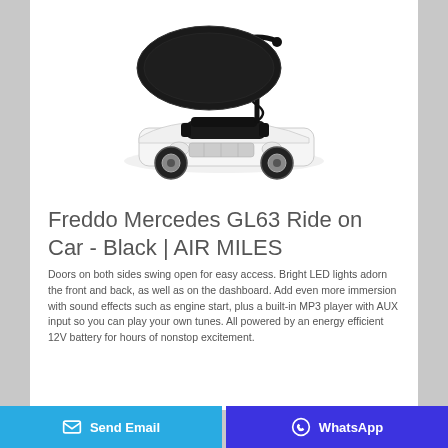[Figure (photo): A children's ride-on toy car styled as a white Bentley/Mercedes GL63, black in color scheme with a large black sun canopy/shade on a coiled pole, push handle for parent, and black seat with armrests.]
Freddo Mercedes GL63 Ride on Car - Black | AIR MILES
Doors on both sides swing open for easy access. Bright LED lights adorn the front and back, as well as on the dashboard. Add even more immersion with sound effects such as engine start, plus a built-in MP3 player with AUX input so you can play your own tunes. All powered by an energy efficient 12V battery for hours of nonstop excitement.
Send Email | WhatsApp